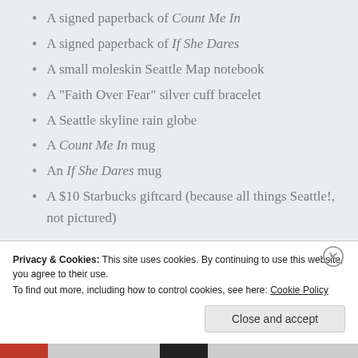A signed paperback of Count Me In
A signed paperback of If She Dares
A small moleskin Seattle Map notebook
A “Faith Over Fear” silver cuff bracelet
A Seattle skyline rain globe
A Count Me In mug
An If She Dares mug
A $10 Starbucks giftcard (because all things Seattle!, not pictured)
Thank you, dear readers, for your support, encouragement, and PATIENCE as I continue to write
Privacy & Cookies: This site uses cookies. By continuing to use this website, you agree to their use.
To find out more, including how to control cookies, see here: Cookie Policy
Close and accept